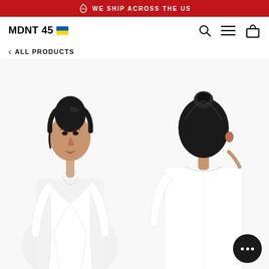WE SHIP ACROSS THE US
MDNT 45
< ALL PRODUCTS
[Figure (photo): Front view of a woman wearing a white wrap blouse/shirt with a V-neckline and long sleeves, on a white background.]
[Figure (photo): Partial back/side view of a person wearing the same white wrap blouse, showing the back and hair in a bun.]